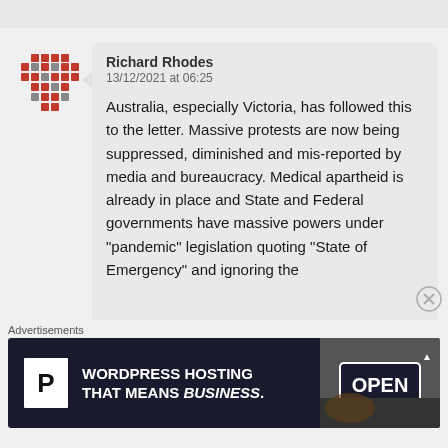Richard Rhodes
13/12/2021 at 06:25
Australia, especially Victoria, has followed this to the letter. Massive protests are now being suppressed, diminished and mis-reported by media and bureaucracy. Medical apartheid is already in place and State and Federal governments have massive powers under "pandemic" legislation quoting "State of Emergency" and ignoring the
Advertisements
[Figure (other): Advertisement banner: WordPress Hosting That Means BUSINESS. with P logo icon on dark background, with an 'OPEN' sign photo on the right]